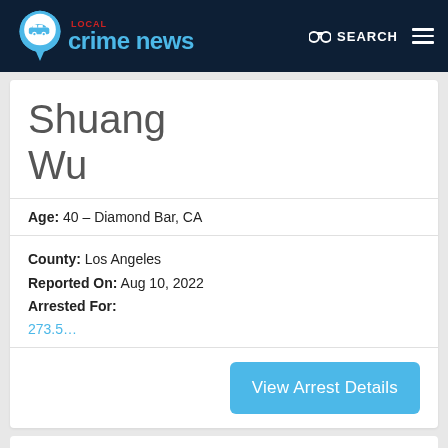Local Crime News — SEARCH
Shuang Wu
Age: 40 – Diamond Bar, CA
County: Los Angeles
Reported On: Aug 10, 2022
Arrested For:
273.5...
View Arrest Details